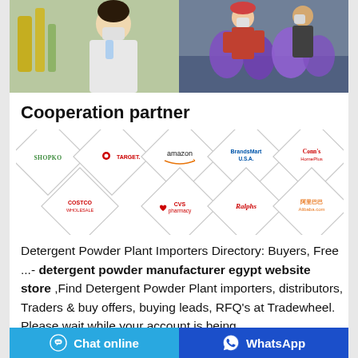[Figure (photo): Two panel photo strip: left panel shows a person in lab coat and mask examining a liquid sample in a laboratory with yellow/green chemical bottles; right panel shows workers in masks handling purple product bags on a production line.]
Cooperation partner
[Figure (infographic): Grid of partner brand logos displayed inside diamond/rotated-square shapes: Shopko, Target, amazon, BrandsMart USA, Conn's HomePlus (top row); Costco, CVS pharmacy, Ralphs, Alibaba.com (bottom row).]
Detergent Powder Plant Importers Directory: Buyers, Free ...- detergent powder manufacturer egypt website store ,Find Detergent Powder Plant importers, distributors, Traders & buy offers, buying leads, RFQ's at Tradewheel. Please wait while your account is being
Chat online   WhatsApp